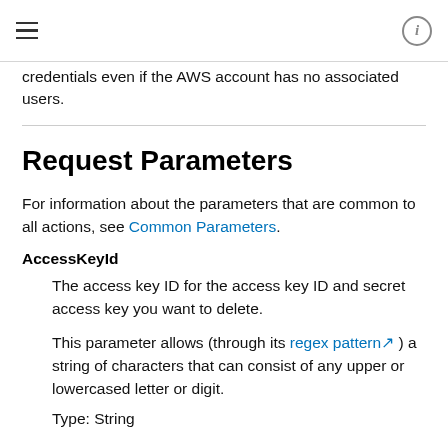≡  ⓘ
credentials even if the AWS account has no associated users.
Request Parameters
For information about the parameters that are common to all actions, see Common Parameters.
AccessKeyId
The access key ID for the access key ID and secret access key you want to delete.
This parameter allows (through its regex pattern ) a string of characters that can consist of any upper or lowercased letter or digit.
Type: String